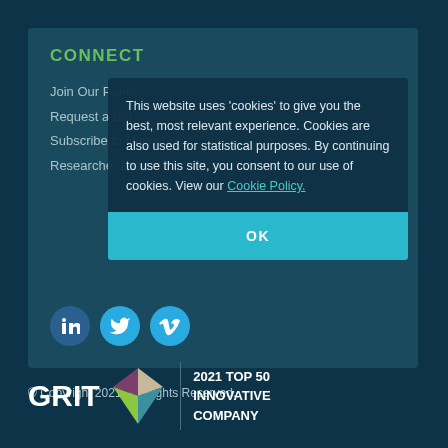CONNECT
Join Our Panel
Request a Bid
Subscribe to News
Researcher Events
This website uses ‘cookies’ to give you the best, most relevant experience. Cookies are also used for statistical purposes. By continuing to use this site, you consent to our use of cookies. View our Cookie Policy.
OK
[Figure (logo): LinkedIn, Twitter, and Vimeo social media icons]
© Copyright 2021. All Rights Reserved.
[Figure (logo): GRIT 2021 TOP 50 INNOVATIVE COMPANY badge with geometric diamond logo]